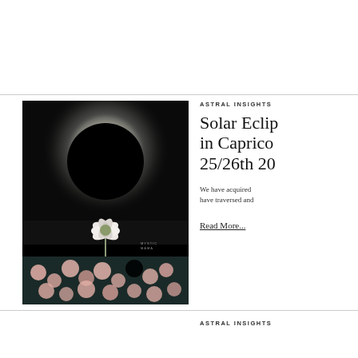[Figure (photo): Collage image of a solar eclipse (black circle with bright corona halo) above a white lotus flower, with a field of pink roses at the bottom, on a dark background. Small watermark 'MYSTIC MAMA' visible.]
ASTRAL INSIGHTS
Solar Eclipse in Capricorn 25/26th 20
We have acquired have traversed and
Read More...
ASTRAL INSIGHTS